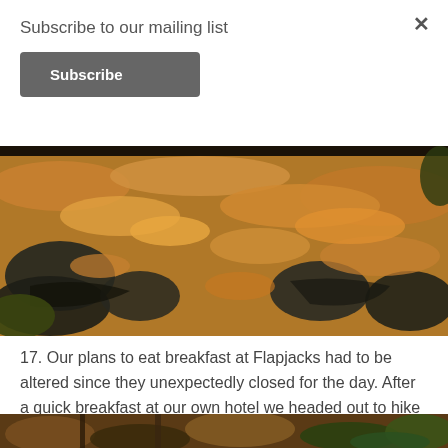Subscribe to our mailing list
Subscribe
[Figure (photo): Autumn leaves covering rocky forest ground, orange and brown fallen leaves with dark rocks visible]
17. Our plans to eat breakfast at Flapjacks had to be altered since they unexpectedly closed for the day. After a quick breakfast at our own hotel we headed out to hike Mt. Pemigwasset then headed home.
[Figure (photo): Forest floor with autumn leaves, tree trunks and green ferns visible at bottom of page]